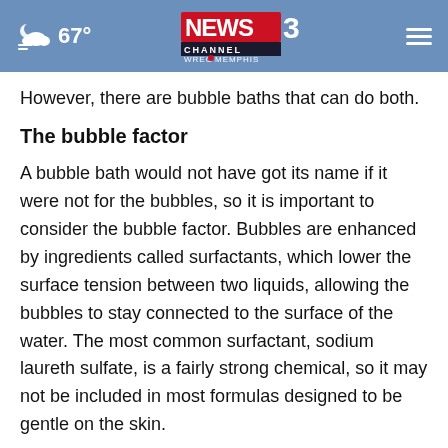67° NEWS3 CHANNEL WREG MEMPHIS
However, there are bubble baths that can do both.
The bubble factor
A bubble bath would not have got its name if it were not for the bubbles, so it is important to consider the bubble factor. Bubbles are enhanced by ingredients called surfactants, which lower the surface tension between two liquids, allowing the bubbles to stay connected to the surface of the water. The most common surfactant, sodium laureth sulfate, is a fairly strong chemical, so it may not be included in most formulas designed to be gentle on the skin.